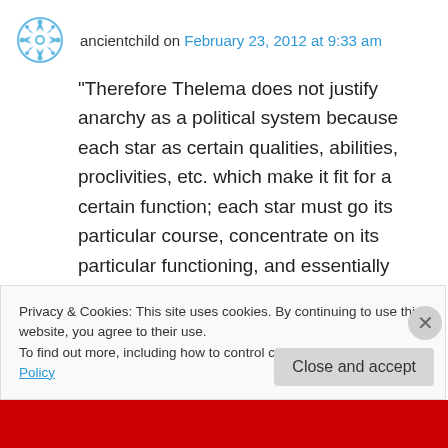ancientchild on February 23, 2012 at 9:33 am
“Therefore Thelema does not justify anarchy as a political system because each star as certain qualities, abilities, proclivities, etc. which make it fit for a certain function; each star must go its particular course, concentrate on its particular functioning, and essentially mind its own business”
This sentence seems to me to convey a complete misunderstanding of what is meant by
Privacy & Cookies: This site uses cookies. By continuing to use this website, you agree to their use.
To find out more, including how to control cookies, see here: Cookie Policy
Close and accept